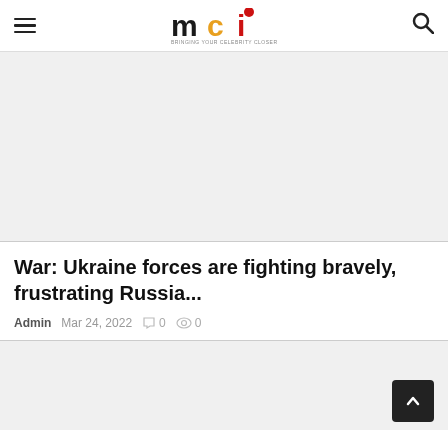mci — BRINGING YOUR CELEBRITY CLOSER TO YOU
[Figure (photo): Large image placeholder area (light gray background), top article image]
War: Ukraine forces are fighting bravely, frustrating Russia...
Admin  Mar 24, 2022  0  0
[Figure (photo): Large image placeholder area (light gray background), bottom article image]